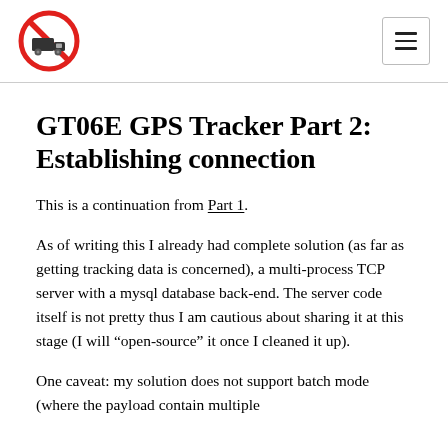[Logo: no-truck icon] [Hamburger menu button]
GT06E GPS Tracker Part 2: Establishing connection
This is a continuation from Part 1.
As of writing this I already had complete solution (as far as getting tracking data is concerned), a multi-process TCP server with a mysql database back-end. The server code itself is not pretty thus I am cautious about sharing it at this stage (I will “open-source” it once I cleaned it up).
One caveat: my solution does not support batch mode (where the payload contain multiple